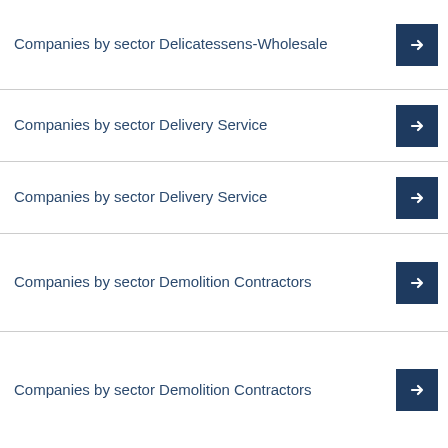Companies by sector Delicatessens-Wholesale
Companies by sector Delivery Service
Companies by sector Delivery Service
Companies by sector Demolition Contractors
Companies by sector Demolition Contractors